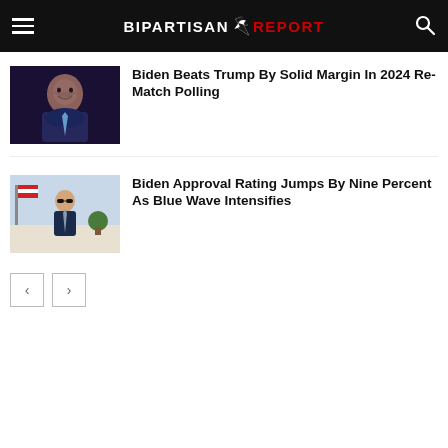BIPARTISAN REPORT
[Figure (photo): Photo of Biden smiling, wearing a suit and tie, dark background]
Biden Beats Trump By Solid Margin In 2024 Re-Match Polling
[Figure (photo): Photo of Biden outdoors, wearing sunglasses and a suit, American flag in background]
Biden Approval Rating Jumps By Nine Percent As Blue Wave Intensifies